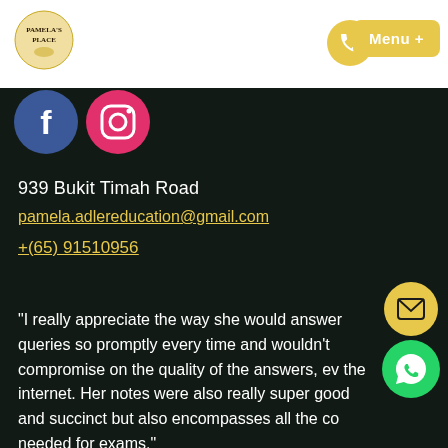[Figure (logo): Pamela's Place logo — circular emblem with text]
Menu +
[Figure (illustration): Facebook and Instagram social media circle icons]
939 Bukit Timah Road
pamela.adlereducation@gmail.com
+(65) 91510956
“I really appreciate the way she would answer queries so promptly every time and wouldn’t compromise on the quality of the answers, ev the internet. Her notes were also really super good and succinct but also encompasses all the co needed for exams.”